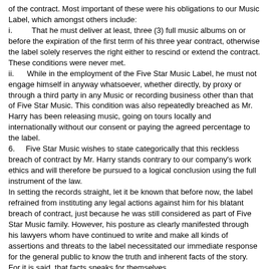of the contract. Most important of these were his obligations to our Music Label, which amongst others include:
i.        That he must deliver at least, three (3) full music albums on or before the expiration of the first term of his three year contract, otherwise the label solely reserves the right either to rescind or extend the contract. These conditions were never met.
ii.     While in the employment of the Five Star Music Label, he must not engage himself in anyway whatsoever, whether directly, by proxy or through a third party in any Music or recording business other than that of Five Star Music. This condition was also repeatedly breached as Mr. Harry has been releasing music, going on tours locally and internationally without our consent or paying the agreed percentage to the label.
6.     Five Star Music wishes to state categorically that this reckless breach of contract by Mr. Harry stands contrary to our company's work ethics and will therefore be pursued to a logical conclusion using the full instrument of the law.
In setting the records straight, let it be known that before now, the label refrained from instituting any legal actions against him for his blatant breach of contract, just because he was still considered as part of Five Star Music family. However, his posture as clearly manifested through his lawyers whom have continued to write and make all kinds of assertions and threats to the label necessitated our immediate response for the general public to know the truth and inherent facts of the story. For it is said, that facts speaks for themselves.
We therefore advice the general public to tread with caution and desist from transacting any business with Mr. Harry Tare Okri, as same is both illegal and a total breach of his existing contract with our record Label, 'Five Star Music Label'. Notwithstanding what propaganda he feeds the public, we further advice that proper verifications are made from us, as there is no iota of truth emanating therefrom.
Signed
Mr. C.C Chris